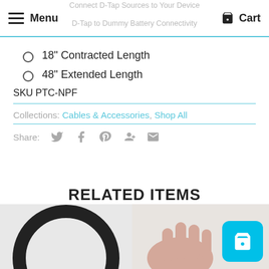Connect D-Tap Sources to Your Device | Menu | Cart
D-Tap to Dummy Battery Connectivity
18" Contracted Length
48" Extended Length
SKU PTC-NPF
Collections: Cables & Accessories, Shop All
Share:
RELATED ITEMS
[Figure (photo): Product images at bottom of page — left: circular gear ring, right: hand holding product]